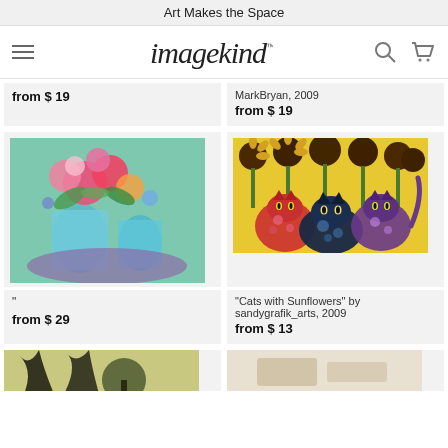Art Makes the Space
[Figure (logo): imagekind logo with hamburger menu, search icon, and cart icon]
from $ 19
MarkBryan, 2009
from $ 19
[Figure (photo): Painting of colorful flowers in blue mason jars on a purple table]
[Figure (photo): Painting of three decorative cats with sunflowers background]
"
from $ 29
"Cats with Sunflowers" by sandygrafik_arts, 2009
from $ 13
[Figure (photo): Partial view of artwork showing trees]
[Figure (photo): Partial view of artwork]